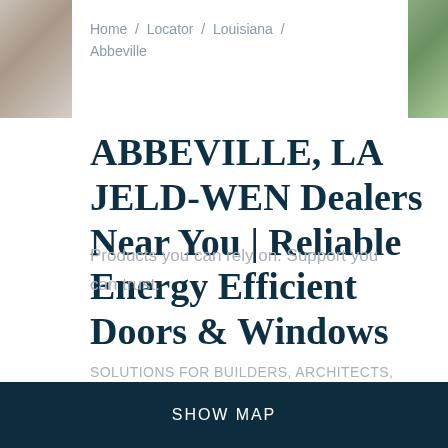[Figure (photo): Partial image of a door/window on the left side]
[Figure (photo): Partial image of outdoor/garden scene on the right side]
Home / Locator / Louisiana / Abbeville
ABBEVILLE, LA JELD-WEN Dealers Near You | Reliable Energy Efficient Doors & Windows
Products you can rely on. Support you can trust.
SOLUTIONS FOR BUILDERS, ARCHITECTS,
SHOW MAP